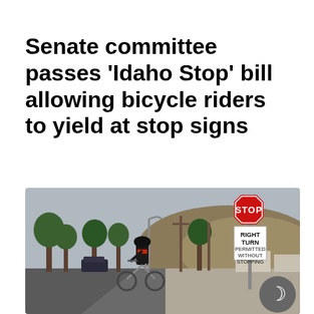Senate committee passes 'Idaho Stop' bill allowing bicycle riders to yield at stop signs
[Figure (photo): A bicycle rider in black cycling gear approaching an intersection with a red STOP sign and a white sign reading 'RIGHT TURN PERMITTED WITHOUT STOPPING'. Rolling hills, trees, utility poles, and a overcast sky are visible in the background.]